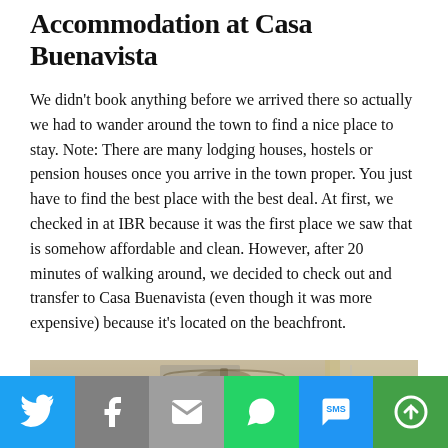Accommodation at Casa Buenavista
We didn't book anything before we arrived there so actually we had to wander around the town to find a nice place to stay. Note: There are many lodging houses, hostels or pension houses once you arrive in the town proper. You just have to find the best place with the best deal. At first, we checked in at IBR because it was the first place we saw that is somehow affordable and clean. However, after 20 minutes of walking around, we decided to check out and transfer to Casa Buenavista (even though it was more expensive) because it's located on the beachfront.
[Figure (photo): Interior photo of a room at Casa Buenavista showing ceiling fan and window with curtains]